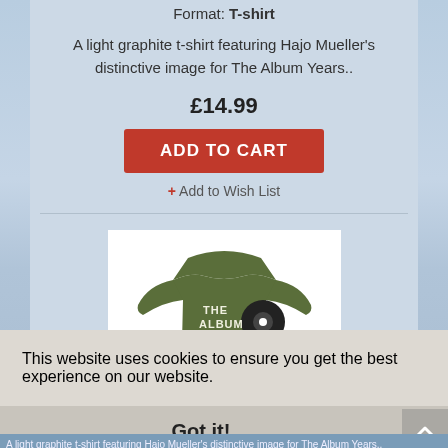Format: T-shirt
A light graphite t-shirt featuring Hajo Mueller's distinctive image for The Album Years..
£14.99
ADD TO CART
+ Add to Wish List
[Figure (photo): Olive green t-shirt with cartoon illustration of two figures and text reading THE ALBUM YEARS with a vinyl record graphic]
This website uses cookies to ensure you get the best experience on our website.
Learn more
Got it!
A light graphite t-shirt featuring Hajo Mueller's distinctive...